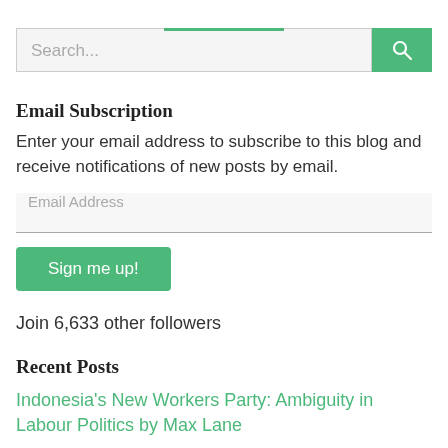Search...
Email Subscription
Enter your email address to subscribe to this blog and receive notifications of new posts by email.
Email Address
Sign me up!
Join 6,633 other followers
Recent Posts
Indonesia's New Workers Party: Ambiguity in Labour Politics by Max Lane